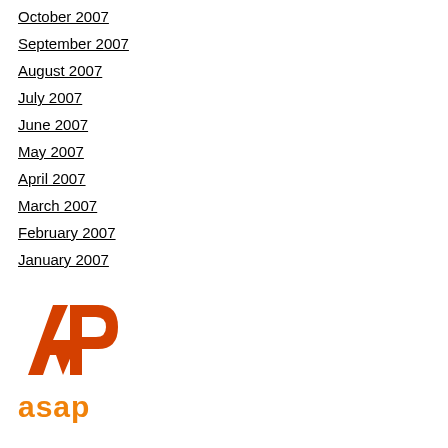October 2007
September 2007
August 2007
July 2007
June 2007
May 2007
April 2007
March 2007
February 2007
January 2007
[Figure (logo): Associated Press (AP) logo in red/orange]
[Figure (logo): AP ASAP text logo in orange]